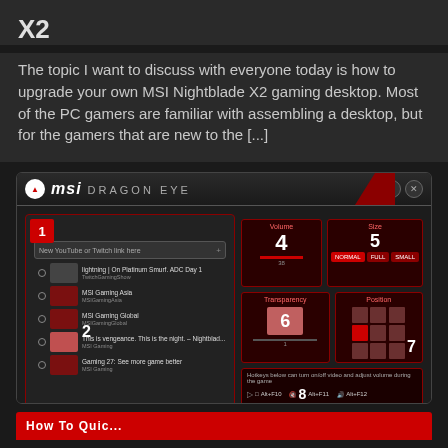X2
The topic I want to discuss with everyone today is how to upgrade your own MSI Nightblade X2 gaming desktop. Most of the PC gamers are familiar with assembling a desktop, but for the gamers that are new to the [...]
[Figure (screenshot): MSI Dragon Eye software interface screenshot showing a video playlist on the left with numbered labels 1-8 indicating different UI regions: (1) channel/source tab, (2) video list, (3) settings button, (4) Volume control, (5) Size options, (6) Transparency slider, (7) Position grid, (8) keyboard shortcut bar at the bottom]
How To Quick...